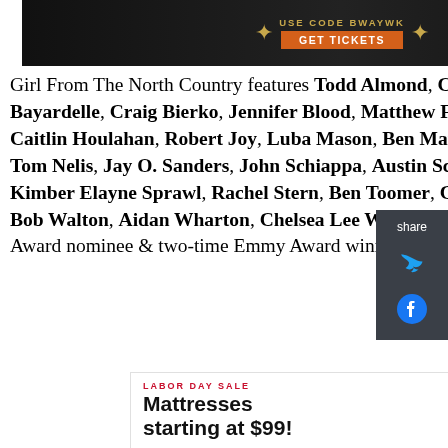[Figure (other): Advertisement banner with dark background showing 'USE CODE BWAYWK' and orange 'GET TICKETS' button with gold decorative elements]
Girl From The North Country features Todd Almond, Colin Bates, Jeannette Bayardelle, Craig Bierko, Jennifer Blood, Matthew Frederick Harris, Caitlin Houlahan, Robert Joy, Luba Mason, Ben Mayne, Matt McGrath, Tom Nelis, Jay O. Sanders, John Schiappa, Austin Scott, Housso Semon, Kimber Elayne Sprawl, Rachel Stern, Ben Toomer, Chiara Trentalange, Bob Walton, Aidan Wharton, Chelsea Lee Williams, and Tony/Academy Award nominee & two-time Emmy Award winner Mare Winningham.
[Figure (other): Advertisement for Labor Day Sale: Mattresses starting at $99!]